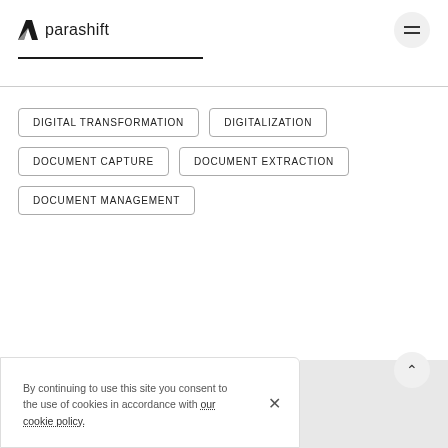parashift
DIGITAL TRANSFORMATION
DIGITALIZATION
DOCUMENT CAPTURE
DOCUMENT EXTRACTION
DOCUMENT MANAGEMENT
By continuing to use this site you consent to the use of cookies in accordance with our cookie policy.